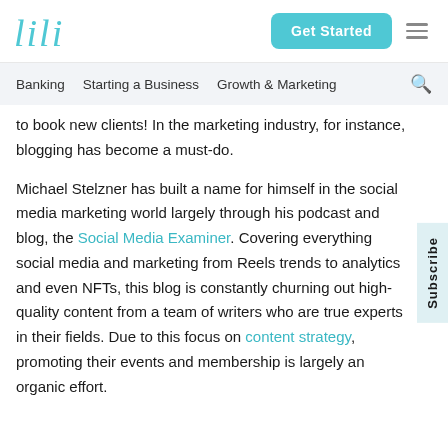lili | Get Started
Banking   Starting a Business   Growth & Marketing
to book new clients! In the marketing industry, for instance, blogging has become a must-do.
Michael Stelzner has built a name for himself in the social media marketing world largely through his podcast and blog, the Social Media Examiner. Covering everything social media and marketing from Reels trends to analytics and even NFTs, this blog is constantly churning out high-quality content from a team of writers who are true experts in their fields. Due to this focus on content strategy, promoting their events and membership is largely an organic effort.